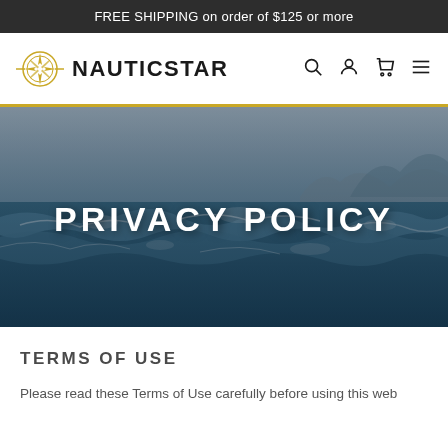FREE SHIPPING on order of $125 or more
[Figure (logo): NauticStar logo with compass rose icon and brand name, plus navigation icons for search, account, cart, and menu]
[Figure (photo): Ocean waves with overlaid white bold text reading PRIVACY POLICY]
PRIVACY POLICY
TERMS OF USE
Please read these Terms of Use carefully before using this web